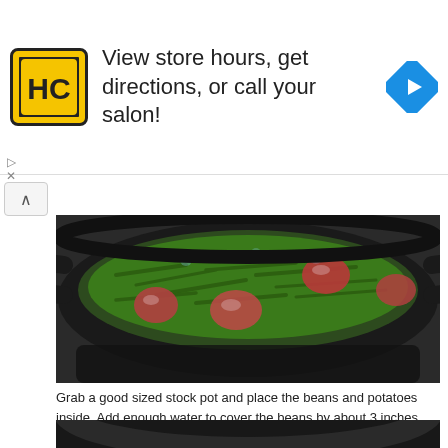[Figure (infographic): Advertisement banner for HC (Hair Club) salon: yellow square logo with HC letters, text 'View store hours, get directions, or call your salon!', and a blue diamond navigation arrow icon.]
[Figure (photo): A black stock pot filled with green beans and red potatoes cooking in water, viewed from above.]
Grab a good sized stock pot and place the beans and potatoes inside. Add enough water to cover the beans by about 3 inches. You'll need a good amount of water to begin with. It will evaporate down as the beans cook.
...
[Figure (photo): Partial view of a black stock pot rim against a dark background.]